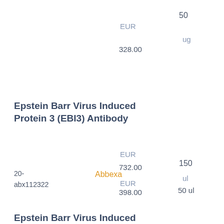EUR
50
ug
328.00
Epstein Barr Virus Induced Protein 3 (EBI3) Antibody
EUR
150
20-abx112322
Abbexa
732.00
ul
EUR
50 ul
398.00
Epstein Barr Virus Induced Protein 3